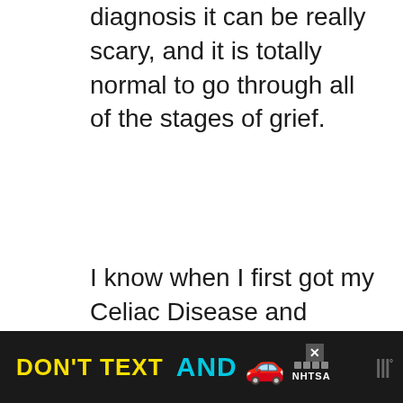diagnosis it can be really scary, and it is totally normal to go through all of the stages of grief.
I know when I first got my Celiac Disease and Hashimoto's Thyroditis diagnosis it was as if someone had died. I was mourning my old life. I couldn't do a lot of things that I could've done before and it was hard!
[Figure (other): Advertisement banner: dark background with yellow text 'DON'T TEXT' and cyan text 'AND' followed by a red car emoji, an 'ad' box with NHTSA logo, a close button, and a media logo on the right.]